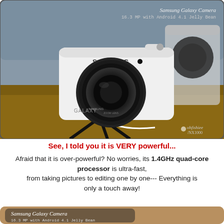[Figure (photo): Samsung Galaxy Camera (16.3 MP with Android 4.1 Jelly Bean) white camera on a small tripod on a wooden table, with another camera in background. Watermark: ohfishiee / NX1000]
See, I told you it is VERY powerful...
Afraid that it is over-powerful? No worries, its 1.4GHz quad-core processor is ultra-fast, from taking pictures to editing one by one--- Everything is only a touch away!
[Figure (photo): Partial bottom image showing Samsung Galaxy Camera label]